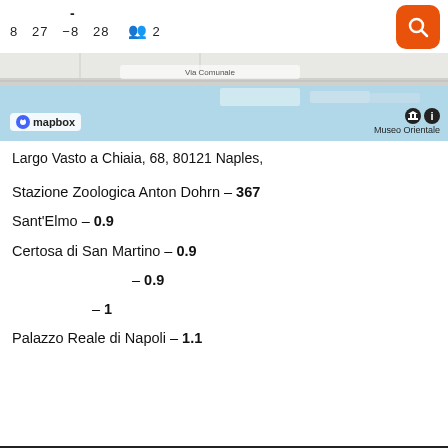- 8 27 -8 28 👥 2
[Figure (map): Mapbox map showing a coastal area near Naples with blue water and streets visible. Museo Orientale label on the right.]
Largo Vasto a Chiaia, 68, 80121 Naples,
Stazione Zoologica Anton Dohrn – 367
Sant'Elmo – 0.9
Certosa di San Martino – 0.9
– 0.9
– 1
Palazzo Reale di Napoli – 1.1